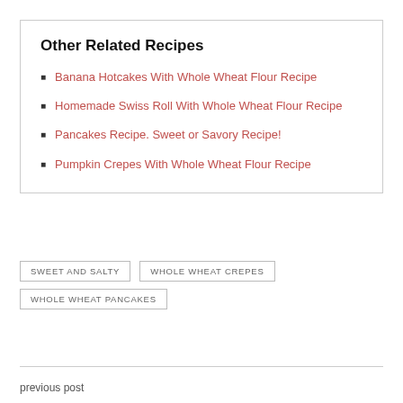Other Related Recipes
Banana Hotcakes With Whole Wheat Flour Recipe
Homemade Swiss Roll With Whole Wheat Flour Recipe
Pancakes Recipe. Sweet or Savory Recipe!
Pumpkin Crepes With Whole Wheat Flour Recipe
SWEET AND SALTY
WHOLE WHEAT CREPES
WHOLE WHEAT PANCAKES
previous post